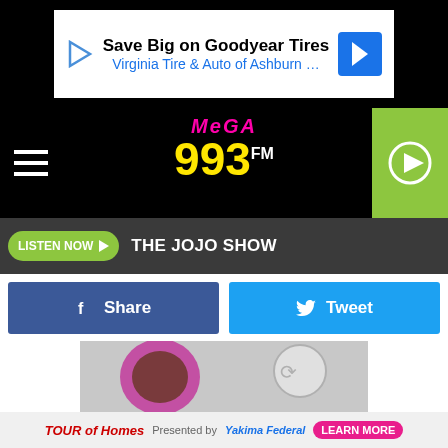[Figure (screenshot): Advertisement banner: Save Big on Goodyear Tires - Virginia Tire & Auto of Ashburn ...]
[Figure (logo): Mega 99.3 FM radio station logo with hamburger menu and play button]
LISTEN NOW   THE JOJO SHOW
[Figure (other): Share and Tweet social media buttons]
[Figure (photo): Partial image showing circular garden or food item with pink and grey tones]
"I Don't" is set for a February 3 worldwide premiere. And if your brain is already making connections between Mimi's enduring relationship with the words "I don't," rest assured you're not alone:
[Figure (screenshot): Bottom advertisement: Tour of Homes presented by Yakima Federal - Learn More]